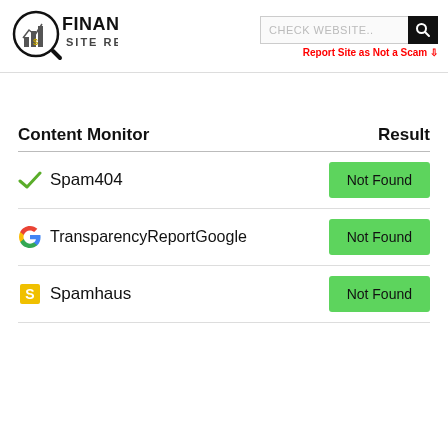[Figure (logo): Financial Site Review logo with magnifying glass icon]
| Content Monitor | Result |
| --- | --- |
| Spam404 | Not Found |
| TransparencyReportGoogle | Not Found |
| Spamhaus | Not Found |